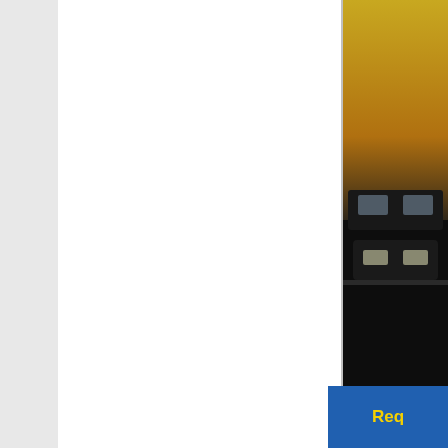[Figure (photo): Partially visible photo on the right side of the page, showing an outdoor scene with warm golden/brown tones and dark elements, likely a car or vehicle appraisal related image.]
After making certain that the independent appraiser is p... the microscope of the insurer or lender, if their answers d...
Call The St. Lucie Appraisal Company when only the be... sought after for insurance, financing, donations for tax-de...
REQU...
[Figure (other): Partially visible button with blue background and yellow text reading 'Req...' — a call-to-action button.]